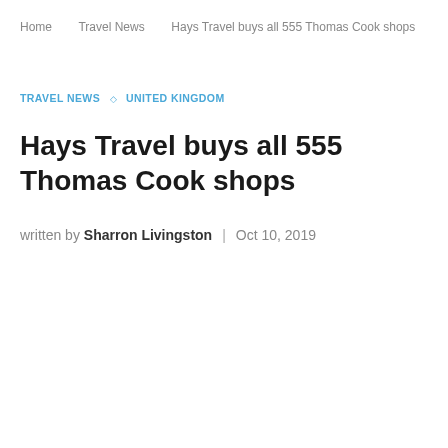Home   Travel News   Hays Travel buys all 555 Thomas Cook shops
TRAVEL NEWS ◇ UNITED KINGDOM
Hays Travel buys all 555 Thomas Cook shops
written by Sharron Livingston  |  Oct 10, 2019